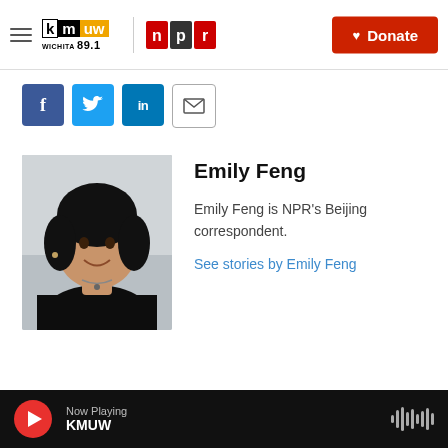KMUW Wichita 89.1 | NPR | Donate
[Figure (other): Social sharing buttons: Facebook, Twitter, LinkedIn, Email]
[Figure (photo): Headshot photo of Emily Feng]
Emily Feng
Emily Feng is NPR's Beijing correspondent.
See stories by Emily Feng
Now Playing KMUW